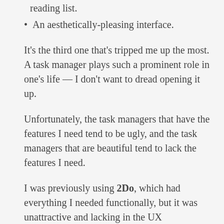reading list.
An aesthetically-pleasing interface.
It's the third one that's tripped me up the most. A task manager plays such a prominent role in one's life — I don't want to dread opening it up.
Unfortunately, the task managers that have the features I need tend to be ugly, and the task managers that are beautiful tend to lack the features I need.
I was previously using 2Do, which had everything I needed functionally, but it was unattractive and lacking in the UX department. It was also developed by a single person (as far as I could tell), so what happens if the developer gets hit by a bus? Or stops